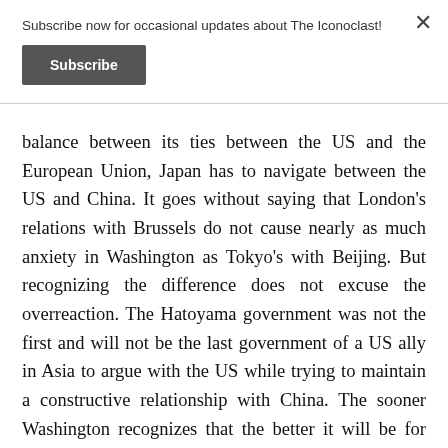Subscribe now for occasional updates about The Iconoclast!
Subscribe
balance between its ties between the US and the European Union, Japan has to navigate between the US and China. It goes without saying that London’s relations with Brussels do not cause nearly as much anxiety in Washington as Tokyo’s with Beijing. But recognizing the difference does not excuse the overreaction. The Hatoyama government was not the first and will not be the last government of a US ally in Asia to argue with the US while trying to maintain a constructive relationship with China. The sooner Washington recognizes that the better it will be for both the US and its allies.